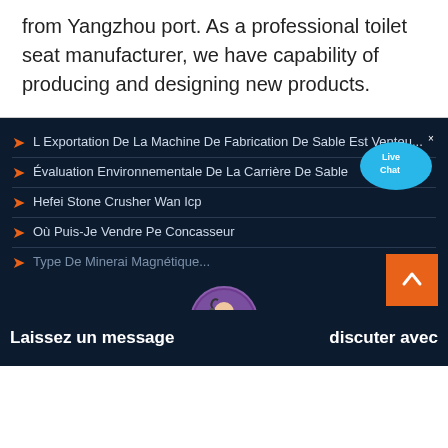from Yangzhou port. As a professional toilet seat manufacturer, we have capability of producing and designing new products.
L Exportation De La Machine De Fabrication De Sable Est Venteu...
Évaluation Environnementale De La Carrière De Sable
Hefei Stone Crusher Wan Icp
Où Puis-Je Vendre Pe Concasseur
Type De Minerai Magnétique...
Laissez un message
discuter avec
Yinzhou Mechanism Sand Enterprise